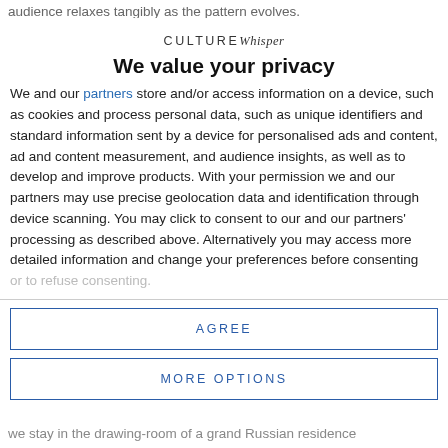audience relaxes tangibly as the pattern evolves.
CULTUREWhisper
We value your privacy
We and our partners store and/or access information on a device, such as cookies and process personal data, such as unique identifiers and standard information sent by a device for personalised ads and content, ad and content measurement, and audience insights, as well as to develop and improve products. With your permission we and our partners may use precise geolocation data and identification through device scanning. You may click to consent to our and our partners' processing as described above. Alternatively you may access more detailed information and change your preferences before consenting or to refuse consenting.
AGREE
MORE OPTIONS
we stay in the drawing-room of a grand Russian residence